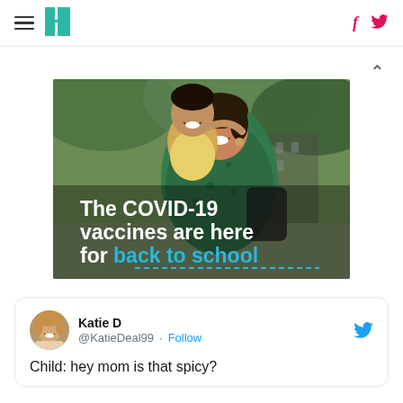HuffPost navigation bar with hamburger menu, HuffPost logo, Facebook and Twitter icons
[Figure (photo): Advertisement image showing a mother and child smiling outdoors with overlaid text: 'The COVID-19 vaccines are here for back to school']
[Figure (screenshot): Tweet from Katie D (@KatieDeal99) with Follow button and Twitter bird icon. Tweet text: 'Child: hey mom is that spicy?']